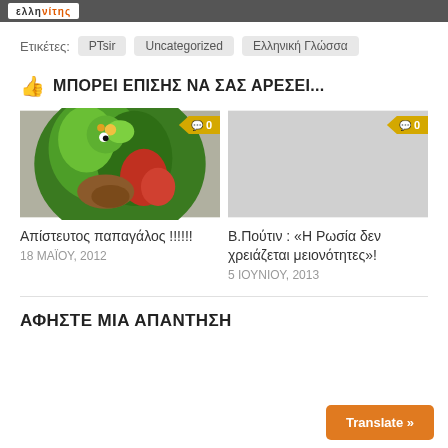ελληνίτης
Ετικέτες: PTsir Uncategorized Ελληνική Γλώσσα
ΜΠΟΡΕΙ ΕΠΙΣΗΣ ΝΑ ΣΑΣ ΑΡΕΣΕΙ...
[Figure (photo): Green parrot image with comment badge showing 0]
Απίστευτος παπαγάλος !!!!!!
18 ΜΑΪΟΥ, 2012
[Figure (photo): Gray placeholder image with comment badge showing 0]
Β.Πούτιν : «Η Ρωσία δεν χρειάζεται μειονότητες»!
5 ΙΟΥΝΙΟΥ, 2013
ΑΦΗΣΤΕ ΜΙΑ ΑΠΑΝΤΗΣΗ